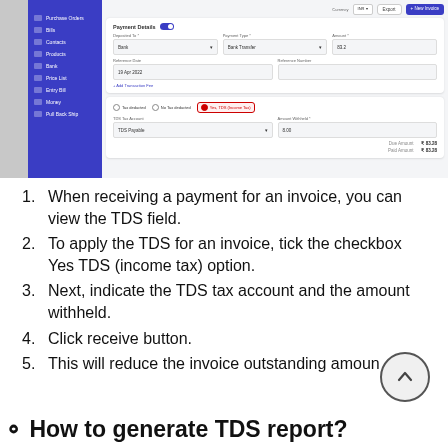[Figure (screenshot): Screenshot of a payment details form in a finance/accounting application showing Payment Details panel with fields for Deposited To (Bank), Payment Type (Bank Transfer), Amount (83.2), Reference Date (19 Apr 2022), Reference Number, Add Transaction Fee link, TDS Tax deduction options with 'Yes, TDS (Income Tax)' selected (highlighted in red border), TDS Tax Account (TDS Payable), Amount Withheld (8.00), Due Amount $83.28, Paid Amount $83.28. Left blue sidebar with navigation items.]
When receiving a payment for an invoice, you can view the TDS field.
To apply the TDS for an invoice, tick the checkbox Yes TDS (income tax) option.
Next, indicate the TDS tax account and the amount withheld.
Click receive button.
This will reduce the invoice outstanding amoun...
How to generate TDS report?